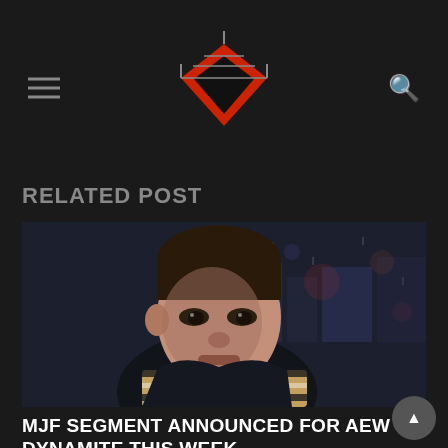Wrestling news website header with hamburger menu, logo, and search icon
RELATED POST
[Figure (photo): Photo of MJF (Maxwell Jacob Friedman), a professional wrestler, wearing a dark jacket and Burberry scarf, looking intensely at the camera with a city background at night]
MJF SEGMENT ANNOUNCED FOR AEW DYNAMITE THIS WEEK